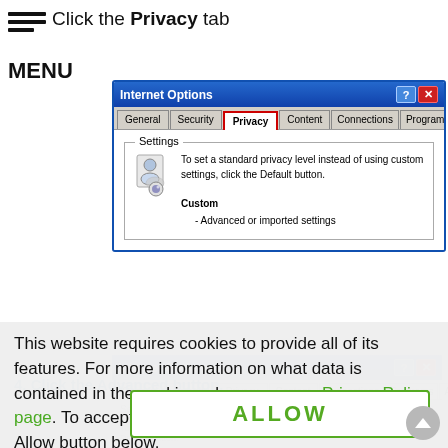Click the Privacy tab
[Figure (screenshot): Internet Options dialog showing Privacy tab selected (highlighted with red border). Settings section shows privacy icon and text: To set a standard privacy level instead of using custom settings, click the Default button. Custom - Advanced or imported settings.]
This website requires cookies to provide all of its features. For more information on what data is contained in the cookies, please see our Privacy Policy page. To accept cookies from this site, please click the Allow button below.
[Figure (screenshot): Faded Internet Options dialog behind cookie consent overlay, with ALLOW button displayed prominently with green border.]